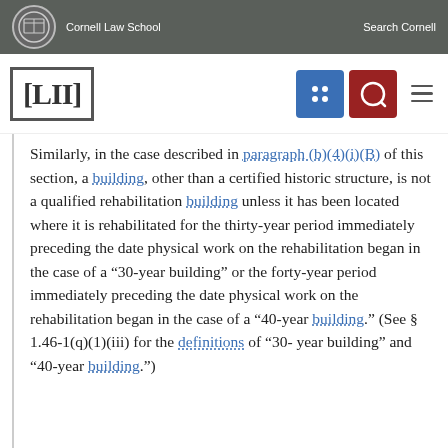Cornell Law School  Search Cornell
[Figure (logo): LII Legal Information Institute logo with navigation icons]
Similarly, in the case described in paragraph (b)(4)(i)(B) of this section, a building, other than a certified historic structure, is not a qualified rehabilitation building unless it has been located where it is rehabilitated for the thirty-year period immediately preceding the date physical work on the rehabilitation began in the case of a “30-year building” or the forty-year period immediately preceding the date physical work on the rehabilitation began in the case of a “40-year building.” (See § 1.46-1(q)(1)(iii) for the definitions of “30-year building” and “40-year building.”)